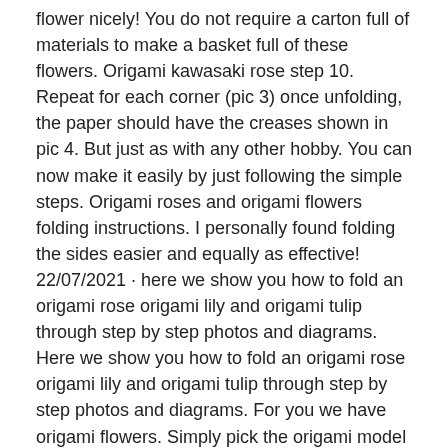flower nicely! You do not require a carton full of materials to make a basket full of these flowers. Origami kawasaki rose step 10. Repeat for each corner (pic 3) once unfolding, the paper should have the creases shown in pic 4. But just as with any other hobby. You can now make it easily by just following the simple steps. Origami roses and origami flowers folding instructions. I personally found folding the sides easier and equally as effective! 22/07/2021 · here we show you how to fold an origami rose origami lily and origami tulip through step by step photos and diagrams. Here we show you how to fold an origami rose origami lily and origami tulip through step by step photos and diagrams. For you we have origami flowers. Simply pick the origami model youd like to from our extensive collection of tutorials. Give a gift of paper flowers that will last a very long time!
12+ Origami Rose Flower Step By Step Pictures. 02/09/2020 · our step by step tutorial of how to make origami flowers will help you through this. Origami roses and origami flowers folding instructions. Origami kawasaki rose step 10. (pic 1) fold in the four corners to the outer creases formed in the first step (pic 2) make another fold diagonally to the crease made by folding down the four corners. 02/12/2021 · fold an origami rose step by step.